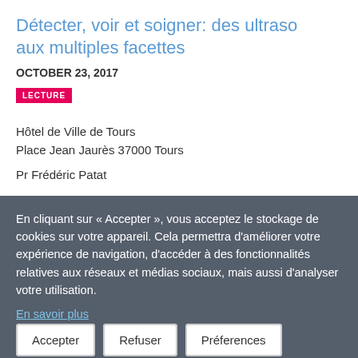Détecter, voir et soigner: des ultrasons aux multiples facettes
OCTOBER 23, 2017
LECTURE
Hôtel de Ville de Tours
Place Jean Jaurès 37000 Tours
Pr Frédéric Patat
En cliquant sur « Accepter », vous acceptez le stockage de cookies sur votre appareil. Cela permettra d'améliorer votre expérience de navigation, d'accéder à des fonctionnalités relatives aux réseaux et médias sociaux, mais aussi d'analyser votre utilisation.
En savoir plus
Accepter
Refuser
Préferences